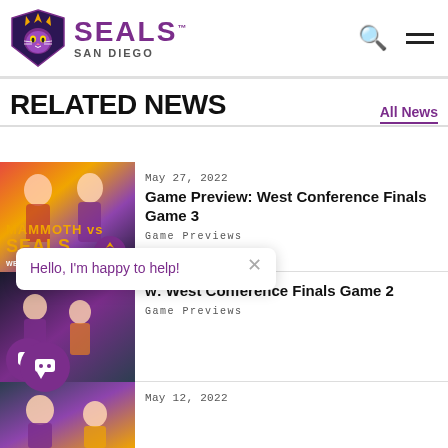San Diego Seals
RELATED NEWS
All News
[Figure (photo): Mammoth vs Seals West Conference Finals game preview image with players in purple and yellow uniforms]
May 27, 2022
Game Preview: West Conference Finals Game 3
Game Previews
[Figure (photo): Players in lacrosse gear for West Conference Finals Game 2 preview image]
w: West Conference Finals Game 2
Game Previews
[Figure (photo): Third news story thumbnail with players in purple uniforms]
May 12, 2022